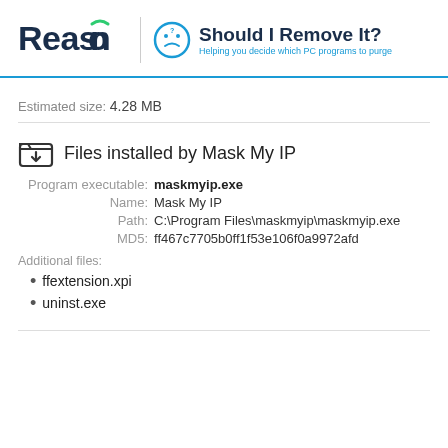Reason | Should I Remove It? Helping you decide which PC programs to purge
Estimated size: 4.28 MB
Files installed by Mask My IP
Program executable: maskmyip.exe
Name: Mask My IP
Path: C:\Program Files\maskmyip\maskmyip.exe
MD5: ff467c7705b0ff1f53e106f0a9972afd
Additional files:
ffextension.xpi
uninst.exe